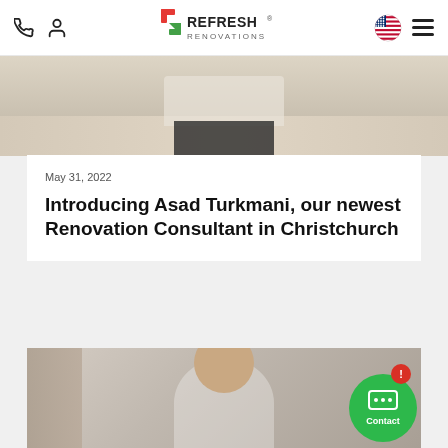Refresh Renovations — navigation header with phone, user, logo, flag, and menu icons
[Figure (photo): Partial photo of a person in a white shirt and black pants standing on a light wood floor with a rug in the background — top portion of a blog card image]
May 31, 2022
Introducing Asad Turkmani, our newest Renovation Consultant in Christchurch
[Figure (photo): Photo of a smiling man in a white shirt standing in a renovated interior space with stone or marble features. A green Contact chat button with a red notification badge is overlaid in the bottom-right corner.]